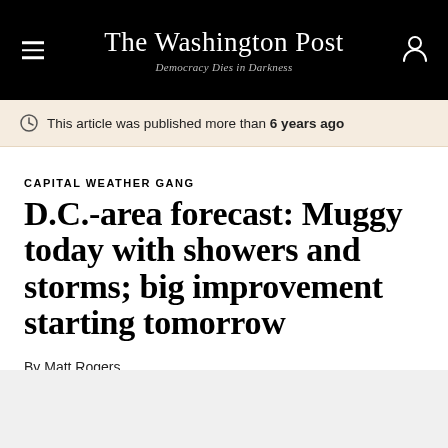The Washington Post — Democracy Dies in Darkness
This article was published more than 6 years ago
CAPITAL WEATHER GANG
D.C.-area forecast: Muggy today with showers and storms; big improvement starting tomorrow
By Matt Rogers
June 28, 2016 at 5:00 a.m. EDT